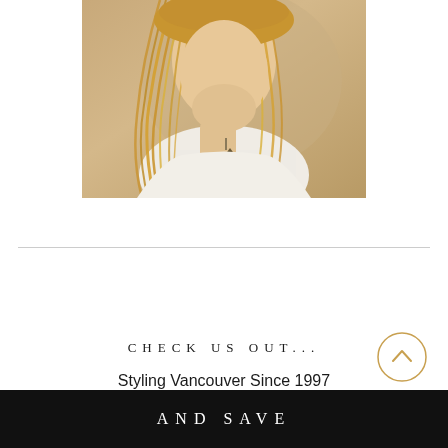[Figure (photo): Close-up fashion photo of a blonde woman wearing a white top and a dark pendant necklace, shot with warm beige/golden tones]
CHECK US OUT...
Styling Vancouver Since 1997
AND SAVE